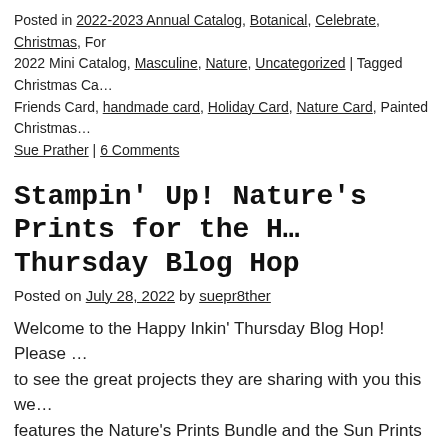Posted in 2022-2023 Annual Catalog, Botanical, Celebrate, Christmas, For … 2022 Mini Catalog, Masculine, Nature, Uncategorized | Tagged Christmas Ca… Friends Card, handmade card, Holiday Card, Nature Card, Painted Christmas… Sue Prather | 6 Comments
Stampin' Up! Nature's Prints for the H… Thursday Blog Hop
Posted on July 28, 2022 by suepr8ther
Welcome to the Happy Inkin' Thursday Blog Hop!  Please … to see the great projects they are sharing with you this we… features the Nature's Prints Bundle and the Sun Prints De… reading →
Share this:
[Figure (infographic): Tweet button (blue), Save button (red/Pinterest), and count badge showing 63]
Like this: